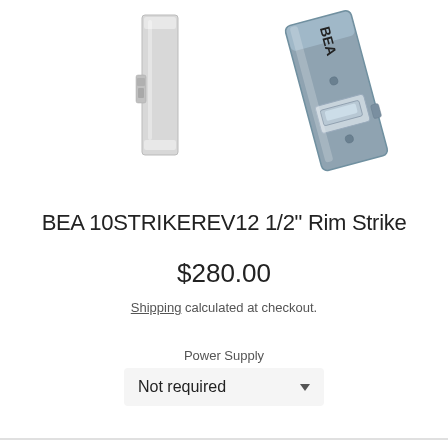[Figure (photo): Two product photos of the BEA 10STRIKEREV12 Rim Strike. Left: front view of a slim rectangular chrome strike plate. Right: angled view of a blue-grey strike mechanism with BEA branding visible.]
BEA 10STRIKEREV12 1/2" Rim Strike
$280.00
Shipping calculated at checkout.
Power Supply
Not required